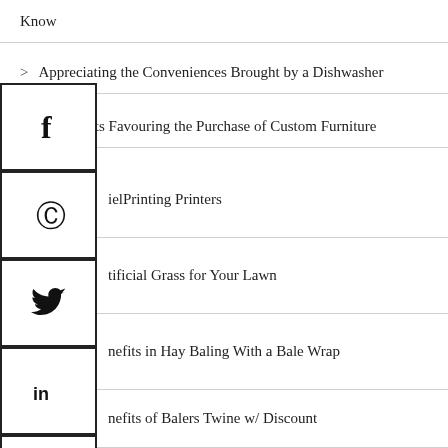Know
> Appreciating the Conveniences Brought by a Dishwasher
> Arguments Favouring the Purchase of Custom Furniture
...ielPrinting Printers
...tificial Grass for Your Lawn
...nefits in Hay Baling With a Bale Wrap
...nefits of Balers Twine w/ Discount
...nefits of Using an SEO Firm to Optimize Your Website
...ilding Trust With Your Customers Through Your Website ...gn
> Business Certificate II